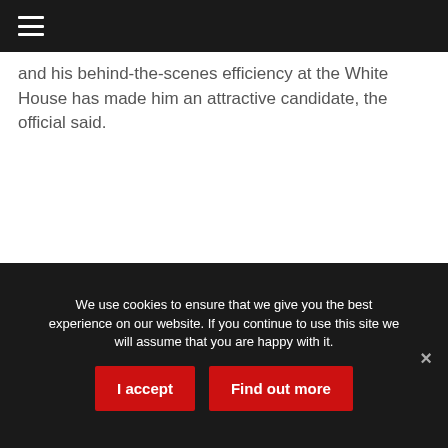☰
and his behind-the-scenes efficiency at the White House has made him an attractive candidate, the official said.
We use cookies to ensure that we give you the best experience on our website. If you continue to use this site we will assume that you are happy with it.